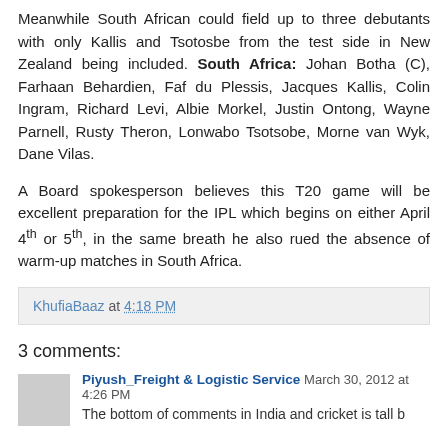Meanwhile South African could field up to three debutants with only Kallis and Tsotosbe from the test side in New Zealand being included. South Africa: Johan Botha (C), Farhaan Behardien, Faf du Plessis, Jacques Kallis, Colin Ingram, Richard Levi, Albie Morkel, Justin Ontong, Wayne Parnell, Rusty Theron, Lonwabo Tsotsobe, Morne van Wyk, Dane Vilas.
A Board spokesperson believes this T20 game will be excellent preparation for the IPL which begins on either April 4th or 5th, in the same breath he also rued the absence of warm-up matches in South Africa.
KhufiaBaaz at 4:18 PM
3 comments:
Piyush_Freight & Logistic Service March 30, 2012 at 4:26 PM